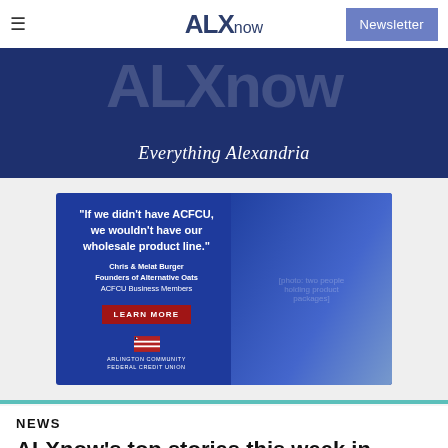ALXnow — Newsletter
[Figure (illustration): ALXnow hero banner with large faded ALXnow text and italic tagline 'Everything Alexandria' on dark navy blue background]
[Figure (photo): ACFCU advertisement banner featuring quote 'If we didn't have ACFCU, we wouldn't have our wholesale product line.' attributed to Chris & Melat Burger, Founders of Alternative Oats, ACFCU Business Members, with a red LEARN MORE button and Arlington Community Federal Credit Union logo, and photo of two people holding product packages]
NEWS
ALXnow's top stories this week in Alexandria